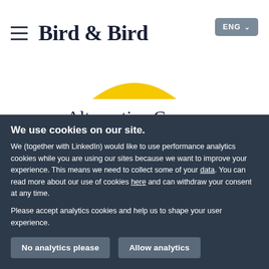Bird & Bird — ENG
[Figure (logo): Yellow arc/smile shape, Bird & Bird logo decorative element]
Alternative Career
PROFESSIONAL CRICKETER
[Figure (other): Navigation dots row with first dot active, four outline dots following]
We use cookies on our site. We (together with LinkedIn) would like to use performance analytics cookies while you are using our sites because we want to improve your experience. This means we need to collect some of your data. You can read more about our use of cookies here and can withdraw your consent at any time.

Please accept analytics cookies and help us to shape your user experience.
No analytics please | Allow analytics